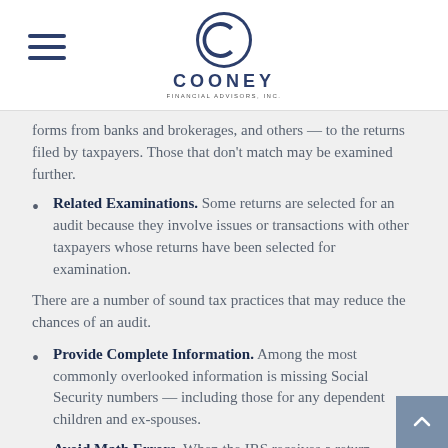Cooney Financial Advisors Inc.
forms from banks and brokerages, and others — to the returns filed by taxpayers. Those that don't match may be examined further.
Related Examinations. Some returns are selected for an audit because they involve issues or transactions with other taxpayers whose returns have been selected for examination.
There are a number of sound tax practices that may reduce the chances of an audit.
Provide Complete Information. Among the most commonly overlooked information is missing Social Security numbers — including those for any dependent children and ex-spouses.
Avoid Math Errors. When the IRS receives a return